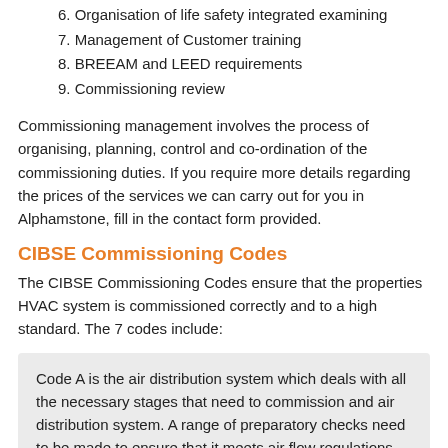6. Organisation of life safety integrated examining
7. Management of Customer training
8. BREEAM and LEED requirements
9. Commissioning review
Commissioning management involves the process of organising, planning, control and co-ordination of the commissioning duties. If you require more details regarding the prices of the services we can carry out for you in Alphamstone, fill in the contact form provided.
CIBSE Commissioning Codes
The CIBSE Commissioning Codes ensure that the properties HVAC system is commissioned correctly and to a high standard. The 7 codes include:
Code A is the air distribution system which deals with all the necessary stages that need to commission and air distribution system. A range of preparatory checks need to be made to ensure that it meets air flow regulations.